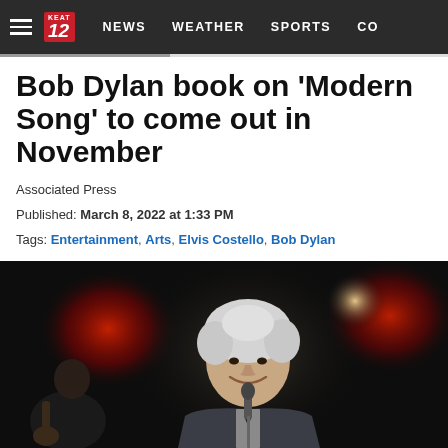NEWS  WEATHER  SPORTS  CO
Bob Dylan book on 'Modern Song' to come out in November
Associated Press
Published: March 8, 2022 at 1:33 PM
Tags: Entertainment, Arts, Elvis Costello, Bob Dylan
[Figure (photo): Bob Dylan performing on stage, smiling, holding a microphone, with red stage lights in the background and another musician visible to the left.]